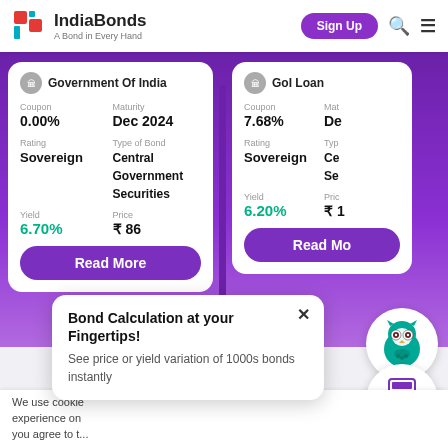IndiaBonds — A Bond in Every Hand
Government Of India — Coupon: 0.00%, Maturity: Dec 2024, Rating: Sovereign, Type of Bond: Central Government Securities, Yield: 6.70%, Price: ₹ 86
GoI Loan — Coupon: 7.68%, Maturity: Dec, Rating: Sovereign, Type: Central Government Securities, Yield: 6.20%, Price: ₹ 11
[Figure (screenshot): Teal owl mascot in a white circle, bottom right of screen]
[Figure (illustration): Purple calculator icon in a white circle labeled 'Calculator']
Bond Calculation at your Fingertips! See price or yield variation of 1000s bonds instantly
We use cookie experience on you agree to t...